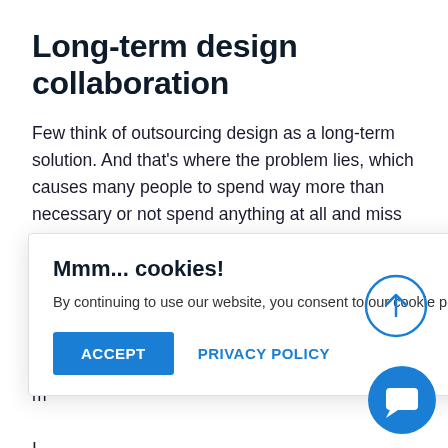Long-term design collaboration
Few think of outsourcing design as a long-term solution. And that's where the problem lies, which causes many people to spend way more than necessary or not spend anything at all and miss out on countless opportunities.
That average hourly fee of a graphic design freelancer of $35 may not sound like much. But after a little more than [truncated] ...that's a bit m[ore...] ...with a f[...] ou may think c[...] not t[...] idea either.
Mmm... cookies!
By continuing to use our website, you consent to our cookie policy.
ACCEPT
PRIVACY POLICY